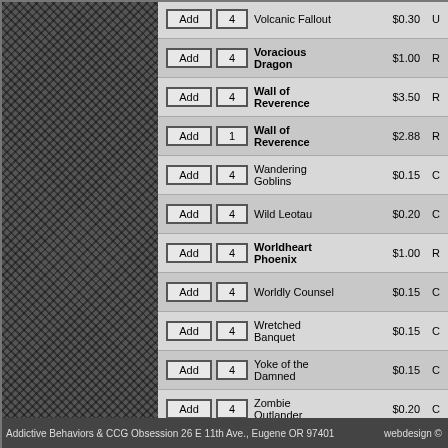| Add | Qty | Card Name | Price | Rarity |
| --- | --- | --- | --- | --- |
| Add | 4 | Volcanic Fallout | $0.30 | U |
| Add | 4 | Voracious Dragon | $1.00 | R |
| Add | 4 | Wall of Reverence | $3.50 | R |
| Add | 1 | Wall of Reverence | $2.88 | R |
| Add | 4 | Wandering Goblins | $0.15 | C |
| Add | 4 | Wild Leotau | $0.20 | C |
| Add | 4 | Worldheart Phoenix | $1.00 | R |
| Add | 4 | Worldly Counsel | $0.15 | C |
| Add | 4 | Wretched Banquet | $0.15 | C |
| Add | 4 | Yoke of the Damned | $0.15 | C |
| Add | 4 | Zombie Outlander | $0.20 | C |
Addictive Behaviors & CCG Obsession 26 E 11th Ave., Eugene OR 97401    webdesign ©